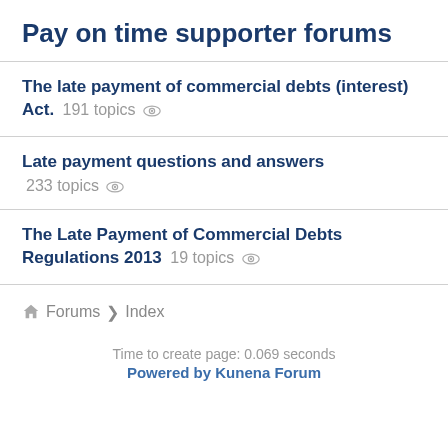Pay on time supporter forums
The late payment of commercial debts (interest) Act. 191 topics
Late payment questions and answers 233 topics
The Late Payment of Commercial Debts Regulations 2013 19 topics
Forums > Index
Time to create page: 0.069 seconds Powered by Kunena Forum